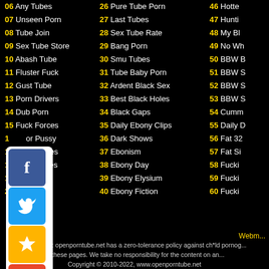06 Any Tubes
07 Unseen Porn
08 Tube Join
09 Sex Tube Store
10 Abash Tube
11 Fluster Fuck
12 Gust Tube
13 Porn Drivers
14 Dub Porn
15 Fuck Forces
16 ...or Pussy
17 ...X movies
18 ...ex Tubes
19 ...
20 ...thumbs
26 Pure Tube Porn
27 Last Tubes
28 Sex Tube Rate
29 Bang Porn
30 Smu Tubes
31 Tube Baby Porn
32 Ardent Black Sex
33 Best Black Holes
34 Black Gaps
35 Daily Ebony Clips
36 Dark Shows
37 Ebonism
38 Ebony Day
39 Ebony Elysium
40 Ebony Fiction
46 Hottest...
47 Huntin...
48 My Bla...
49 No Wh...
50 BBW B...
51 BBW S...
52 BBW S...
53 BBW S...
54 Cumm...
55 Daily D...
56 Fat 32...
57 Fat Si...
58 Fuckin...
59 Fuckin...
60 Fuckin...
Webmaster  Disclaimer: openporntube.net has a zero-tolerance policy against ch*ld pornography. All galleries and links are provided by 3rd parties. We have no control over the content of these pages. We take no responsibility for the content on any website which we link to. Please use your own discretion while surfing the porn links.  Copyright © 2010-2022, www.openporntube.net